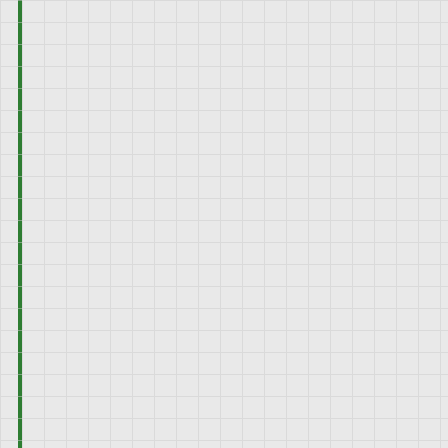56. Crowding Out in the Labour Market: Do Employers Lend a Hand? IZA Discussion Papers, Institute of Labor Economics (IZA) downloads View citations (1)
57. Do employer preferences contribute to sticky floors? Post-Print, HAL View citations (47) Also in IZA Discussion Papers, Institute of Labor Economics (IZA) (2014) downloads See also Journal Article in ILR Review (2016)
58. Does It Pay to Care? Prosocial Engagement and Employment Opportunities IZA Discussion Papers, Institute of Labor Economics (IZA) downloads View citations (14)
59. Immigrant Volunteering: A Way Out of Labour Market Discrimination? IZA Discussion Papers, Institute of Labor Economics (IZA) downloads View citations (26) See also Journal Article in Economics Letters (2016)
60. Les Belges propriétaires d...